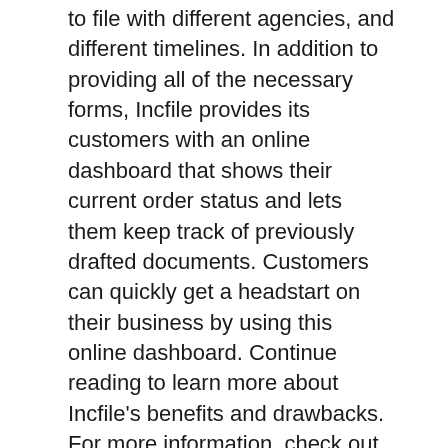to file with different agencies, and different timelines. In addition to providing all of the necessary forms, Incfile provides its customers with an online dashboard that shows their current order status and lets them keep track of previously drafted documents. Customers can quickly get a headstart on their business by using this online dashboard. Continue reading to learn more about Incfile's benefits and drawbacks. For more information, check out Incfile's reviews.
Incfile Reviews
Incfile Reviews claim that customer service is difficult to reach and that they sometimes